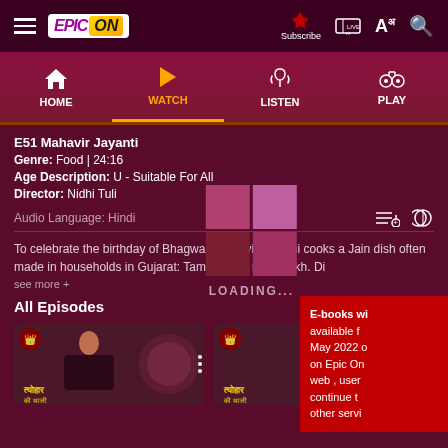EPIC ON - Top navigation bar with Home, Watch, Listen, Play
E51 Mahavir Jayanti
Genre: Food | 24:16
Age Description: U - Suitable For All
Director: Nidhi Tuli
Audio Language: Hindi
[Figure (screenshot): Loading indicator with 2x2 grid of colored squares and LOADING... text]
To celebrate the birthday of Bhagwan Mahavir, Sakshi cooks a Jain dish often made in households in Gujarat: Tamatar sev nu shaakh. Di
see more +
All Episodes
[Figure (screenshot): Two episode thumbnail cards showing Tyohar Ki Thali show]
E-books wi available f May 2022 o on Epic On web , user continue t other servi